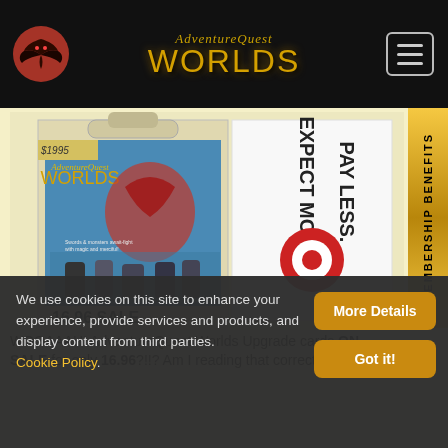[Figure (screenshot): AdventureQuest Worlds website header with logo, site title, and hamburger menu on black background]
[Figure (photo): AdventureQuest Worlds upgrade card game product package showing price tag 16.96 SALE, next to a Target store sign reading EXPECT MORE. PAY LESS.]
WOOAAAH! AdventureQuest Worlds Upgrade cards ON SALE for only 16.96?!!? Am I reading that correctly? ...Is
We use cookies on this site to enhance your experience, provide services and products, and display content from third parties. Cookie Policy.
More Details
Got it!